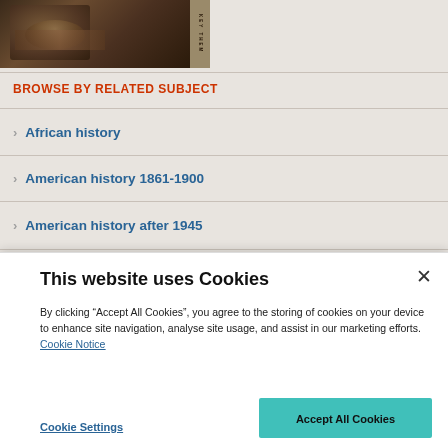[Figure (photo): Partial view of a book cover showing a dark bronze relief sculpture and a vertical spine with text 'KEY THEM']
BROWSE BY RELATED SUBJECT
African history
American history 1861-1900
American history after 1945
This website uses Cookies
By clicking “Accept All Cookies”, you agree to the storing of cookies on your device to enhance site navigation, analyse site usage, and assist in our marketing efforts. Cookie Notice
Cookie Settings
Accept All Cookies